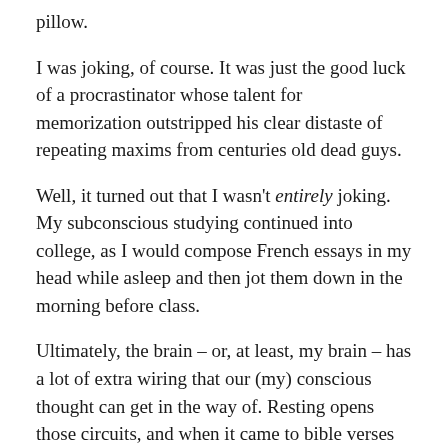pillow.
I was joking, of course. It was just the good luck of a procrastinator whose talent for memorization outstripped his clear distaste of repeating maxims from centuries old dead guys.
Well, it turned out that I wasn't entirely joking. My subconscious studying continued into college, as I would compose French essays in my head while asleep and then jot them down in the morning before class.
Ultimately, the brain – or, at least, my brain – has a lot of extra wiring that our (my) conscious thought can get in the way of. Resting opens those circuits, and when it came to bible verses and French homework it was installing a new stick of RAM into my biological computer.
I don't recall when I first started dreaming songs. I